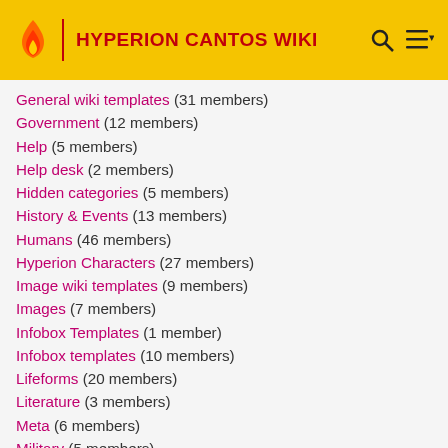HYPERION CANTOS WIKI
General wiki templates (31 members)
Government (12 members)
Help (5 members)
Help desk (2 members)
Hidden categories (5 members)
History & Events (13 members)
Humans (46 members)
Hyperion Characters (27 members)
Image wiki templates (9 members)
Images (7 members)
Infobox Templates (1 member)
Infobox templates (10 members)
Lifeforms (20 members)
Literature (3 members)
Meta (6 members)
Military (5 members)
Moons (3 members)
New pages (0 members)
Organisation (0 members)
Organisations (1 member)
Organization (14 members)
Orphans of the Helix Characters (1 member)